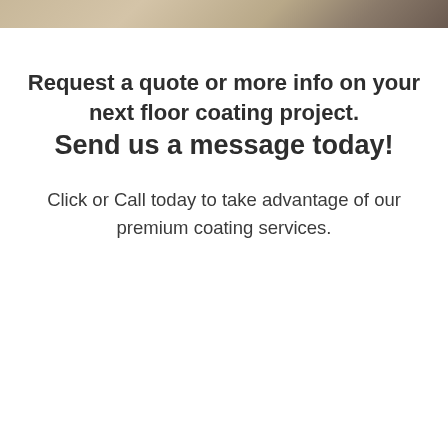[Figure (photo): Partial photo strip at the top of the page showing a floor or surface texture]
Request a quote or more info on your next floor coating project. Send us a message today!
Click or Call today to take advantage of our premium coating services.